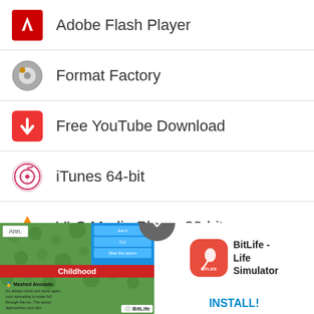Adobe Flash Player
Format Factory
Free YouTube Download
iTunes 64-bit
VLC Media Player 32-bit
MagicISO
Spotify
Picasa
[Figure (screenshot): BitLife - Life Simulator advertisement banner with game screenshot and install button]